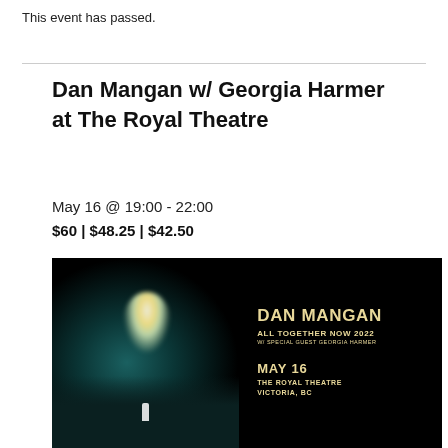This event has passed.
Dan Mangan w/ Georgia Harmer at The Royal Theatre
May 16 @ 19:00 - 22:00
$60 | $48.25 | $42.50
[Figure (photo): Concert promotional poster for Dan Mangan All Together Now 2022 tour with special guest Georgia Harmer. Left half shows a dramatic concert photo with spotlight and crowd. Right half shows text on black background: DAN MANGAN, ALL TOGETHER NOW 2022, W/ SPECIAL GUEST GEORGIA HARMER, MAY 16, THE ROYAL THEATRE, VICTORIA, BC]